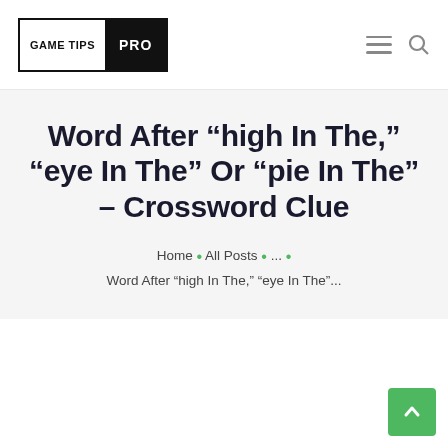GAME TIPS PRO — navigation header with logo, hamburger menu icon, and search icon
Word After “high In The,” “eye In The” Or “pie In The” – Crossword Clue
Home • All Posts • ... • Word After “high In The,” “eye In The”...